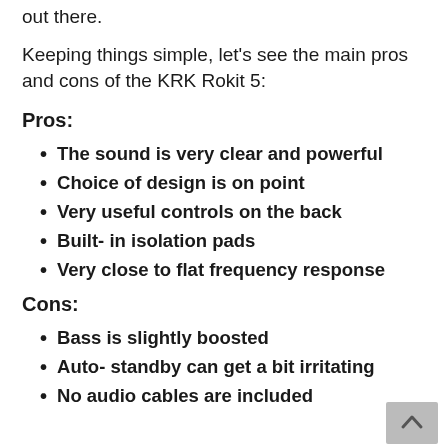out there.
Keeping things simple, let's see the main pros and cons of the KRK Rokit 5:
Pros:
The sound is very clear and powerful
Choice of design is on point
Very useful controls on the back
Built- in isolation pads
Very close to flat frequency response
Cons:
Bass is slightly boosted
Auto- standby can get a bit irritating
No audio cables are included